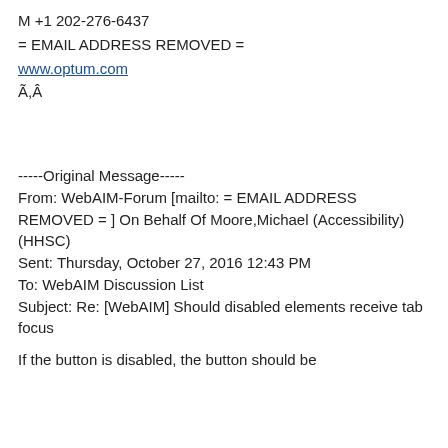M +1 202-276-6437
= EMAIL ADDRESS REMOVED =
www.optum.com
Ã,Â
-----Original Message-----
From: WebAIM-Forum [mailto: = EMAIL ADDRESS REMOVED = ] On Behalf Of Moore,Michael (Accessibility) (HHSC)
Sent: Thursday, October 27, 2016 12:43 PM
To: WebAIM Discussion List
Subject: Re: [WebAIM] Should disabled elements receive tab focus
If the elements disabled, the button should be...